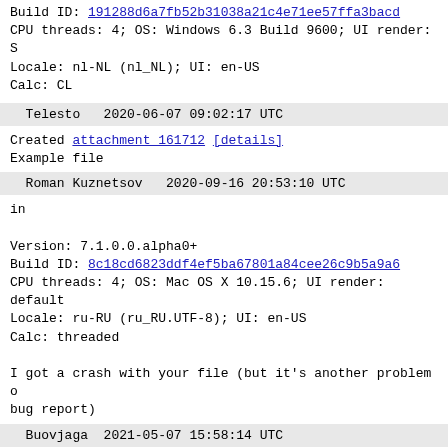Build ID: 191288d6a7fb52b31038a21c4e71ee57ffa3bacd
CPU threads: 4; OS: Windows 6.3 Build 9600; UI render: S
Locale: nl-NL (nl_NL); UI: en-US
Calc: CL
Telesto   2020-06-07 09:02:17 UTC
Created attachment 161712 [details]
Example file
Roman Kuznetsov   2020-09-16 20:53:10 UTC
in
Version: 7.1.0.0.alpha0+
Build ID: 8c18cd6823ddf4ef5ba67801a84cee26c9b5a9a6
CPU threads: 4; OS: Mac OS X 10.15.6; UI render: default
Locale: ru-RU (ru_RU.UTF-8); UI: en-US
Calc: threaded
I got a crash with your file (but it's another problem o
bug report)
Buovjaga   2021-05-07 15:58:14 UTC
Not reproduced, please re-test
Version: 7.2.0.0.alpha0+ (x64) / LibreOffice Community